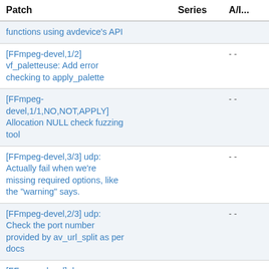| Patch | Series | A/... |
| --- | --- | --- |
| functions using avdevice's API |  |  |
| [FFmpeg-devel,1/2] vf_paletteuse: Add error checking to apply_palette |  | - - |
| [FFmpeg-devel,1/1,NO,NOT,APPLY] Allocation NULL check fuzzing tool |  | - - |
| [FFmpeg-devel,3/3] udp: Actually fail when we're missing required options, like the "warning" says. |  | - - |
| [FFmpeg-devel,2/3] udp: Check the port number provided by av_url_split as per docs |  | - - |
| [FFmpeg-devel] dvenc: Prevent out-of-bounds read |  | - - |
| [FFmpeg-devel,07/12] cngenc: Add... |  | - - |